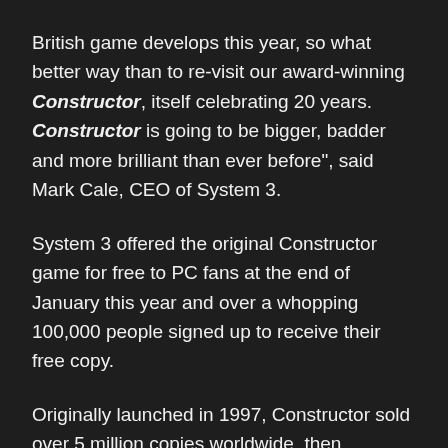British game develops this year, so what better way than to re-visit our award-winning Constructor, itself celebrating 20 years. Constructor is going to be bigger, badder and more brilliant than ever before", said Mark Cale, CEO of System 3.
System 3 offered the original Constructor game for free to PC fans at the end of January this year and over a whopping 100,000 people signed up to receive their free copy.
Originally launched in 1997, Constructor sold over 5 million copies worldwide, then famously launched on the original PlayStation One which was emulated on PC b...